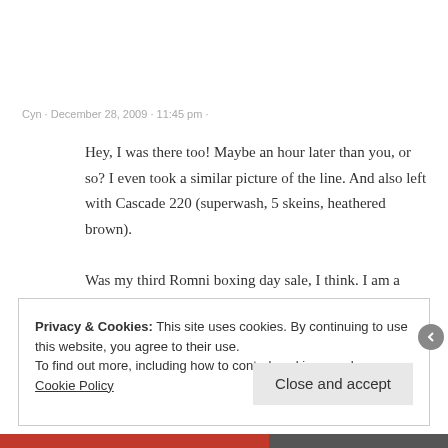Cyn · December 28, 2009 · 11:45 pm ·
Hey, I was there too! Maybe an hour later than you, or so? I even took a similar picture of the line. And also left with Cascade 220 (superwash, 5 skeins, heathered brown).

Was my third Romni boxing day sale, I think. I am a crazy
Privacy & Cookies: This site uses cookies. By continuing to use this website, you agree to their use.
To find out more, including how to control cookies, see here: Cookie Policy